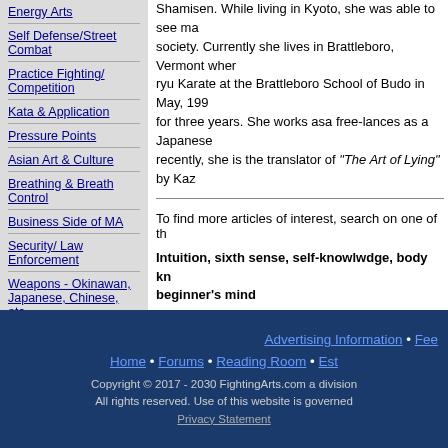Self Defense/Street Combat
Practice Fighting/Competition
Kata & Application
Pressure Points
Asian Art & Culture
Breathing & Breath Control
Business Side of MA
Security/ Law Enforcement
Weapons - Okinawan, Japanese, Chinese, etc.
Martial Arts Books
Martial Arts Films
Post Your Event
Shamisen. While living in Kyoto, she was able to see ma... society. Currently she lives in Brattleboro, Vermont wher... ryu Karate at the Brattleboro School of Budo in May, 199... for three years. She works asa free-lances as a Japanese... recently, she is the translator of "The Art of Lying" by Kaz...
To find more articles of interest, search on one of th...
Intuition, sixth sense, self-knowlwdge, body kn... beginner's mind
Read more articles by Sara Ao...
Return to Martial Arts Teaching ano...
Return to the Main Reading R...
Advertising Information • Fee... Home • Forums • Reading Room • Est... Copyright © 2017 - 2030 FightingArts.com a division... All rights reserved. Use of this website is governed... Privacy Statement